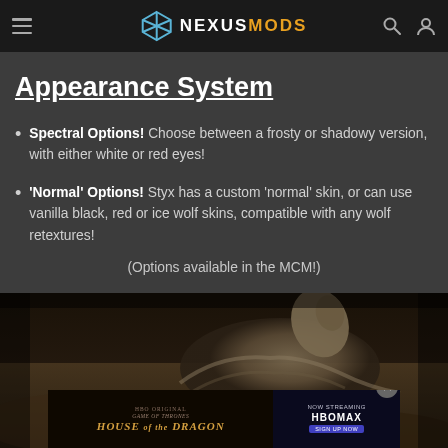NEXUSMODS
Appearance System
Spectral Options! Choose between a frosty or shadowy version, with either white or red eyes!
'Normal' Options! Styx has a custom 'normal' skin, or can use vanilla black, red or ice wolf skins, compatible with any wolf retextures!
(Options available in the MCM!)
[Figure (photo): A wolf resting on rocky terrain, photographed in dark muted tones, with an advertisement overlay for House of the Dragon on HBO Max.]